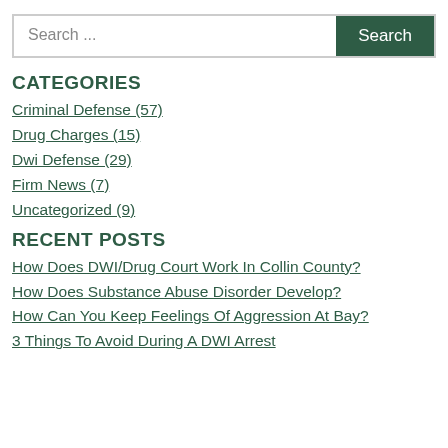CATEGORIES
Criminal Defense (57)
Drug Charges (15)
Dwi Defense (29)
Firm News (7)
Uncategorized (9)
RECENT POSTS
How Does DWI/Drug Court Work In Collin County?
How Does Substance Abuse Disorder Develop?
How Can You Keep Feelings Of Aggression At Bay?
3 Things To Avoid During A DWI Arrest